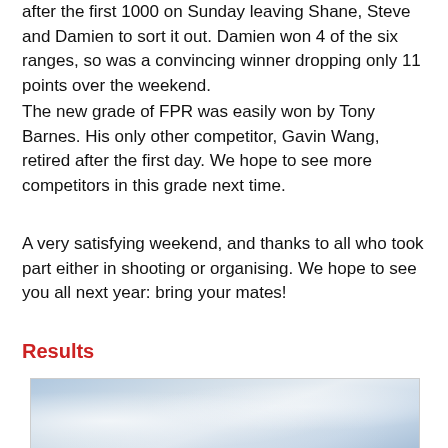after the first 1000 on Sunday leaving Shane, Steve and Damien to sort it out. Damien won 4 of the six ranges, so was a convincing winner dropping only 11 points over the weekend.
The new grade of FPR was easily won by Tony Barnes. His only other competitor, Gavin Wang, retired after the first day. We hope to see more competitors in this grade next time.
A very satisfying weekend, and thanks to all who took part either in shooting or organising. We hope to see you all next year: bring your mates!
Results
[Figure (photo): Outdoor sky/clouds photograph, partially visible at bottom of page]